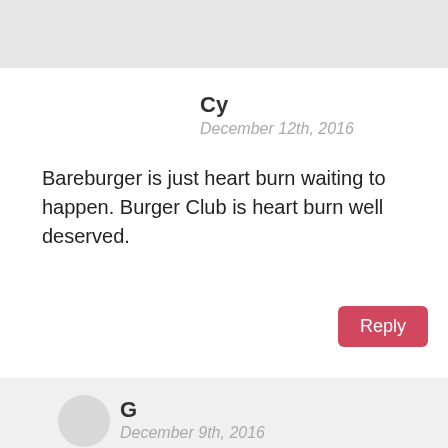[Figure (other): Gray bar at top of page, partial comment block]
Cy
December 12th, 2016
Bareburger is just heart burn waiting to happen. Burger Club is heart burn well deserved.
Reply
G
December 9th, 2016
Burger Club > Bareburger